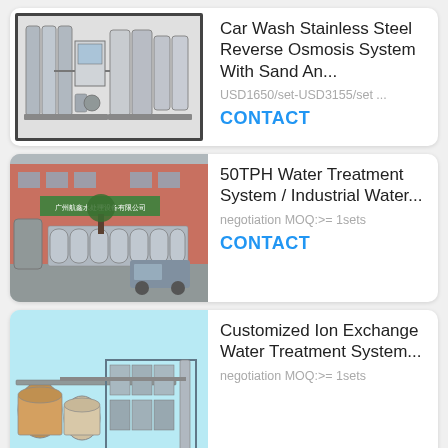[Figure (photo): Industrial reverse osmosis stainless steel water treatment machinery on white/grey background, with border frame]
Car Wash Stainless Steel Reverse Osmosis System With Sand An...
USD1650/set-USD3155/set ...
CONTACT
[Figure (photo): Industrial water treatment plant exterior photo with large reverse osmosis membrane units, factory building in background]
50TPH Water Treatment System / Industrial Water...
negotiation MOQ:>= 1sets
CONTACT
[Figure (photo): Ion exchange water treatment equipment on light blue background, multiple tanks and filtration units]
Customized Ion Exchange Water Treatment System...
negotiation MOQ:>= 1sets